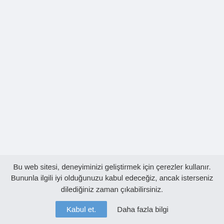Bu web sitesi, deneyiminizi geliştirmek için çerezler kullanır. Bununla ilgili iyi olduğunuzu kabul edeceğiz, ancak isterseniz dilediğiniz zaman çıkabilirsiniz.
Kabul et.
Daha fazla bilgi